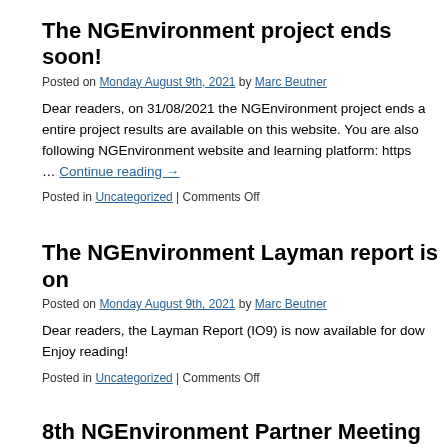The NGEnvironment project ends soon!
Posted on Monday August 9th, 2021 by Marc Beutner
Dear readers, on 31/08/2021 the NGEnvironment project ends a… entire project results are available on this website. You are also … following NGEnvironment website and learning platform: https… … Continue reading →
Posted in Uncategorized | Comments Off
The NGEnvironment Layman report is on…
Posted on Monday August 9th, 2021 by Marc Beutner
Dear readers, the Layman Report (IO9) is now available for dow… Enjoy reading!
Posted in Uncategorized | Comments Off
8th NGEnvironment Partner Meeting i…